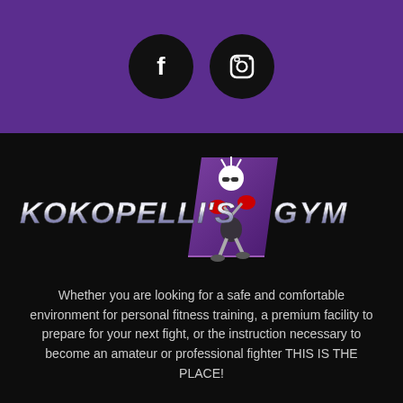[Figure (logo): Purple header background with Facebook and Instagram social media icons as black circles]
[Figure (logo): Kokopelli's Gym logo on black background: metallic text KOKOPELLI'S and GYM with a purple parallelogram containing a cartoon boxer character]
Whether you are looking for a safe and comfortable environment for personal fitness training, a premium facility to prepare for your next fight, or the instruction necessary to become an amateur or professional fighter THIS IS THE PLACE!